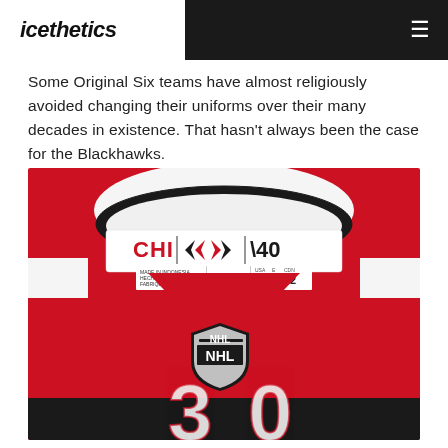icethetics
Some Original Six teams have almost religiously avoided changing their uniforms over their many decades in existence. That hasn’t always been the case for the Blackhawks.
[Figure (photo): Close-up photo of a Chicago Blackhawks NHL jersey collar area showing the neck tag with CHI | team logo | 40, a size label reading MADE IN INDONESIA with adidas logo and sizes USA 52, 52, CDN 52, an NHL shield logo on the jersey, and partial view of the jersey number on a red jersey with black and white accents.]